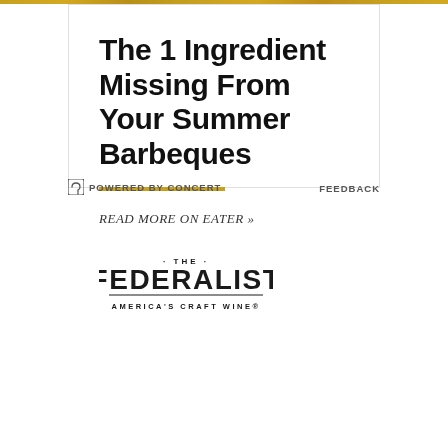The 1 Ingredient Missing From Your Summer Barbeques
READ MORE ON EATER »
[Figure (logo): The Federalist - America's Craft Wine logo]
POWERED BY CONCERT   FEEDBACK